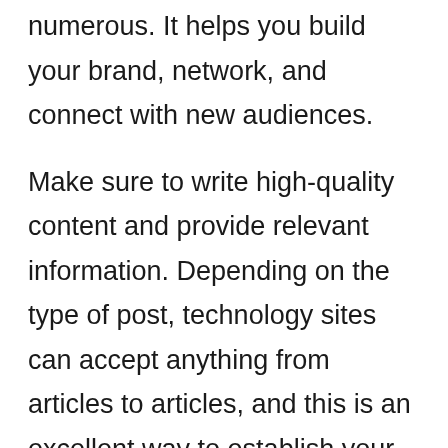numerous. It helps you build your brand, network, and connect with new audiences.
Make sure to write high-quality content and provide relevant information. Depending on the type of post, technology sites can accept anything from articles to articles, and this is an excellent way to establish your brand and reputation.
Just be sure to follow best practices and comply with Google’s guidelines when